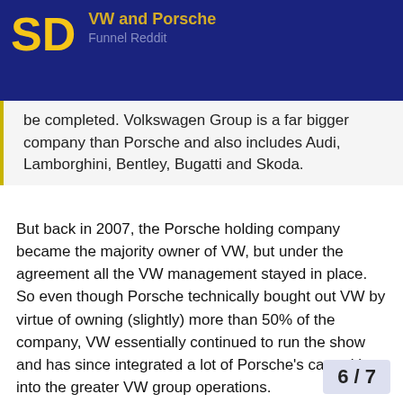VW and Porsche
Funnel Reddit
be completed. Volkswagen Group is a far bigger company than Porsche and also includes Audi, Lamborghini, Bentley, Bugatti and Skoda.
But back in 2007, the Porsche holding company became the majority owner of VW, but under the agreement all the VW management stayed in place. So even though Porsche technically bought out VW by virtue of owning (slightly) more than 50% of the company, VW essentially continued to run the show and has since integrated a lot of Porsche's carmaking into the greater VW group operations.
I certainly see why the OP is confused since it seems weird that some company you think of as a niche manufacturer seemingly bought out one of the world's biggest automakers. My understanding is basically that the Porsche holding company was founded way back in the early days of the West German auto industry and was much, much larger than just a sports car operation, including having bough... VW back before its own the brand debig...
6 / 7